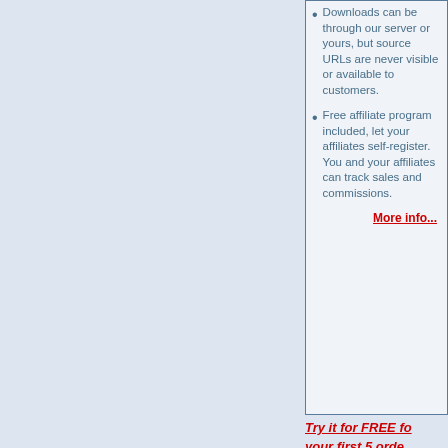Downloads can be through our server or yours, but source URLs are never visible or available to customers.
Free affiliate program included, let your affiliates self-register. You and your affiliates can track sales and commissions.
More info...
Try it for FREE for your first 5 orders